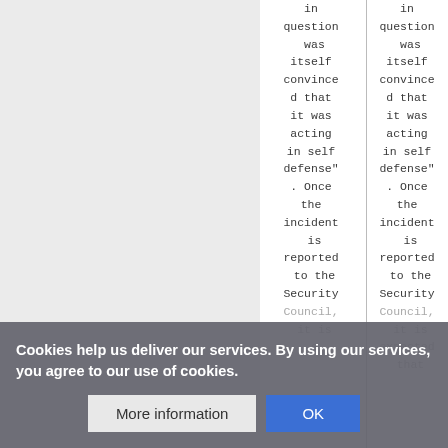|  | Column 1 | Column 2 |
| --- | --- | --- |
|  | in question was itself convinced that it was acting in self defense". Once the incident is reported to the Security Council, it is expected that | in question was itself convinced that it was acting in self defense". Once the incident is reported to the Security Council, it is expected that |
Cookies help us deliver our services. By using our services, you agree to our use of cookies.